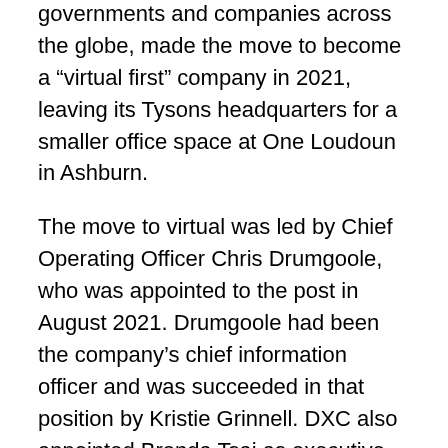governments and companies across the globe, made the move to become a “virtual first” company in 2021, leaving its Tysons headquarters for a smaller office space at One Loudoun in Ashburn.
The move to virtual was led by Chief Operating Officer Chris Drumgoole, who was appointed to the post in August 2021. Drumgoole had been the company’s chief information officer and was succeeded in that position by Kristie Grinnell. DXC also appointed Brenda Tsai as executive vice president and chief marketing and communications officer in June 2021.
In February 2021, DXC rejected an unsolicited